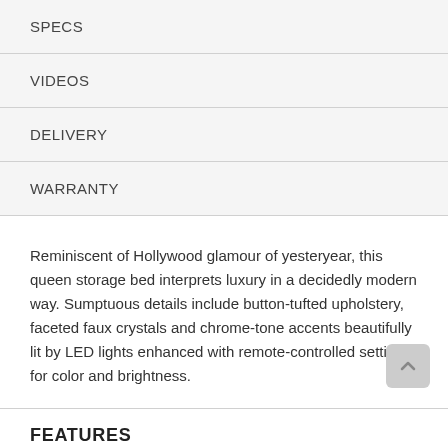SPECS
VIDEOS
DELIVERY
WARRANTY
Reminiscent of Hollywood glamour of yesteryear, this queen storage bed interprets luxury in a decidedly modern way. Sumptuous details include button-tufted upholstery, faceted faux crystals and chrome-tone accents beautifully lit by LED lights enhanced with remote-controlled settings for color and brightness.
FEATURES